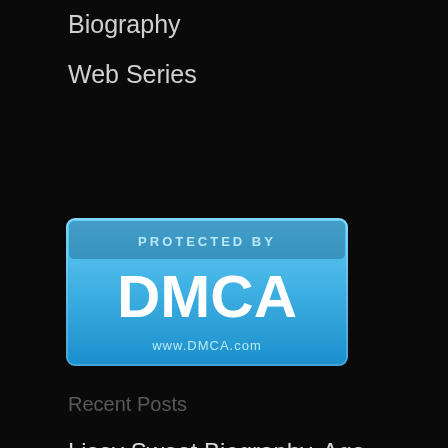Biography
Web Series
[Figure (logo): DMCA Protected badge - blue rectangular badge with text 'PROTECTED BY DMCA www.DMCA.com']
Recent Posts
Lisey Sweet Biography, Age, Career, Photos & More
Layla Quinn Biography, Age, Career, Photos & More
Dillion Harper Biography, Age, Career,